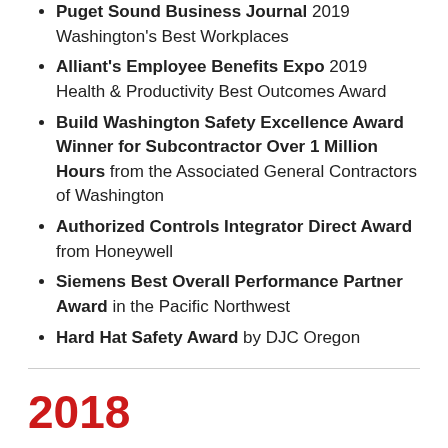Puget Sound Business Journal 2019 Washington's Best Workplaces
Alliant's Employee Benefits Expo 2019 Health & Productivity Best Outcomes Award
Build Washington Safety Excellence Award Winner for Subcontractor Over 1 Million Hours from the Associated General Contractors of Washington
Authorized Controls Integrator Direct Award from Honeywell
Siemens Best Overall Performance Partner Award in the Pacific Northwest
Hard Hat Safety Award by DJC Oregon
2018
NAIOP's Night of the Stars Mixed-Use Development of the Year Project Winner: